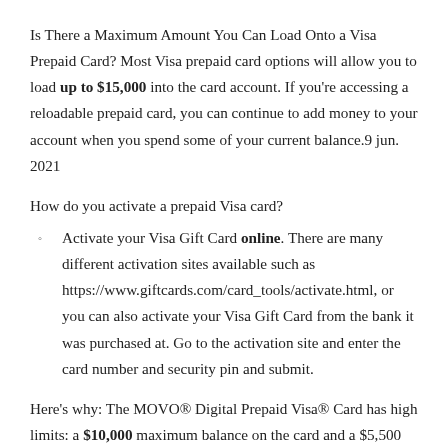Is There a Maximum Amount You Can Load Onto a Visa Prepaid Card? Most Visa prepaid card options will allow you to load up to $15,000 into the card account. If you're accessing a reloadable prepaid card, you can continue to add money to your account when you spend some of your current balance.9 jun. 2021
How do you activate a prepaid Visa card?
Activate your Visa Gift Card online. There are many different activation sites available such as https://www.giftcards.com/card_tools/activate.html, or you can also activate your Visa Gift Card from the bank it was purchased at. Go to the activation site and enter the card number and security pin and submit.
Here's why: The MOVO® Digital Prepaid Visa® Card has high limits: a $10,000 maximum balance on the card and a $5,500 per